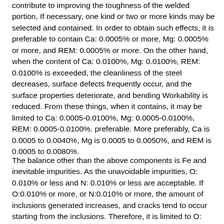contribute to improving the toughness of the welded portion, If necessary, one kind or two or more kinds may be selected and contained. In order to obtain such effects, it is preferable to contain Ca: 0.0005% or more, Mg: 0.0005% or more, and REM: 0.0005% or more. On the other hand, when the content of Ca: 0.0100%, Mg: 0.0100%, REM: 0.0100% is exceeded, the cleanliness of the steel decreases, surface defects frequently occur, and the surface properties deteriorate, and bending Workability is reduced. From these things, when it contains, it may be limited to Ca: 0.0005-0.0100%, Mg: 0.0005-0.0100%, REM: 0.0005-0.0100%. preferable. More preferably, Ca is 0.0005 to 0.0040%, Mg is 0.0005 to 0.0050%, and REM is 0.0005 to 0.0080%.
The balance other than the above components is Fe and inevitable impurities. As the unavoidable impurities, O: 0.010% or less and N: 0.010% or less are acceptable. If O:0.010% or more, or N:0.010% or more, the amount of inclusions generated increases, and cracks tend to occur starting from the inclusions. Therefore, it is limited to O: 0.010% or less and N: 0.010% or less. In addition, it is preferably O: 0.0050% or less and N: 0.0050% or less. More